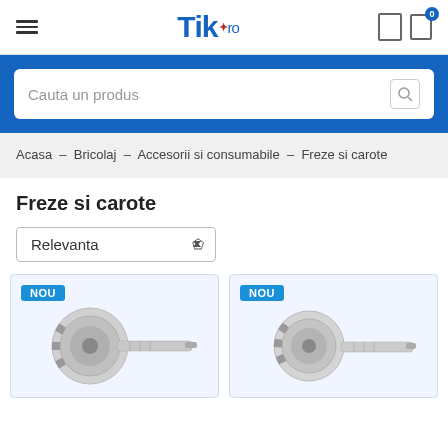Tik.ro — hamburger menu, search icon, cart (0)
Cauta un produs
Acasa – Bricolaj – Accesorii si consumabile – Freze si carote
Freze si carote
Relevanta
[Figure (photo): Product card with NOU badge showing a drill hole saw bit (carota) tool, metallic silver color]
[Figure (photo): Product card with NOU badge showing another drill hole saw bit (carota) tool, metallic silver color]